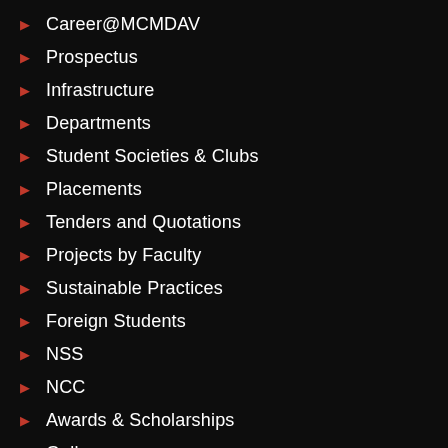Career@MCMDAV
Prospectus
Infrastructure
Departments
Student Societies & Clubs
Placements
Tenders and Quotations
Projects by Faculty
Sustainable Practices
Foreign Students
NSS
NCC
Awards & Scholarships
Gallery